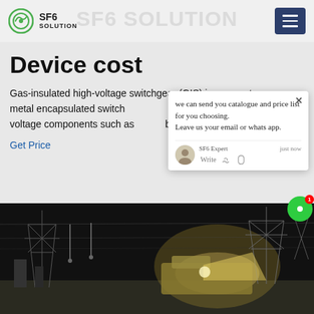SF6 SOLUTION
Device cost
Gas-insulated high-voltage switchgear (GIS) is compact metal encapsulated switching of high-voltage components such as breakers
Get Price
[Figure (screenshot): Chat popup overlay showing message: 'we can send you catalogue and price list for you choosing. Leave us your email or whatsapp.' with SF6 Expert avatar and 'just now' timestamp, Write field with icons]
[Figure (photo): Night-time photo of high-voltage electrical substation with transmission towers and equipment, lit by artificial lighting]